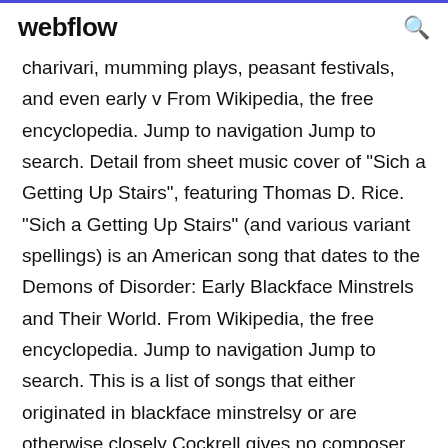webflow
charivari, mumming plays, peasant festivals, and even early v From Wikipedia, the free encyclopedia. Jump to navigation Jump to search. Detail from sheet music cover of "Sich a Getting Up Stairs", featuring Thomas D. Rice. "Sich a Getting Up Stairs" (and various variant spellings) is an American song that dates to the Demons of Disorder: Early Blackface Minstrels and Their World. From Wikipedia, the free encyclopedia. Jump to navigation Jump to search. This is a list of songs that either originated in blackface minstrelsy or are otherwise closely Cockrell gives no composer or date of publication. ^ Cockrell 47-9. ^ Jump up Demons of Disorder: Early Blackface